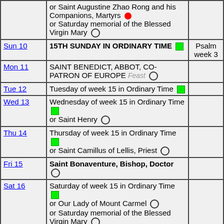| Day | Description | Psalm |
| --- | --- | --- |
|  | or Saint Augustine Zhao Rong and his Companions, Martyrs • or Saturday memorial of the Blessed Virgin Mary ○ |  |
| Sun 10 | 15TH SUNDAY IN ORDINARY TIME ■ | Psalm week 3 |
| Mon 11 | SAINT BENEDICT, ABBOT, CO-PATRON OF EUROPE Feast ○ |  |
| Tue 12 | Tuesday of week 15 in Ordinary Time ■ |  |
| Wed 13 | Wednesday of week 15 in Ordinary Time ■ or Saint Henry ○ |  |
| Thu 14 | Thursday of week 15 in Ordinary Time ■ or Saint Camillus of Lellis, Priest ○ |  |
| Fri 15 | Saint Bonaventure, Bishop, Doctor ○ |  |
| Sat 16 | Saturday of week 15 in Ordinary Time ■ or Our Lady of Mount Carmel ○ or Saturday memorial of the Blessed Virgin Mary ○ |  |
| Sun 17 | 16TH SUNDAY IN ORDINARY TIME ■ | Psalm week 4 |
| Mon 18 | Monday of week 16 in Ordinary Time ■ |  |
| Tue 19 | Tuesday of week 16 in Ordinary Time ■ |  |